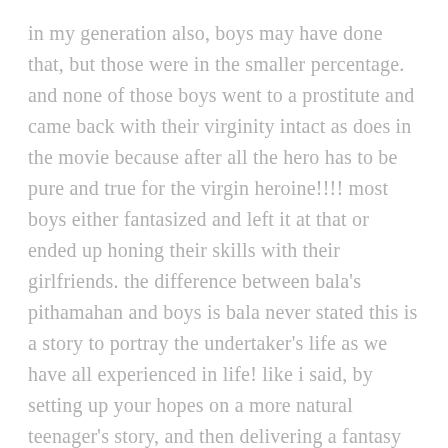in my generation also, boys may have done that, but those were in the smaller percentage. and none of those boys went to a prostitute and came back with their virginity intact as does in the movie because after all the hero has to be pure and true for the virgin heroine!!!! most boys either fantasized and left it at that or ended up honing their skills with their girlfriends. the difference between bala's pithamahan and boys is bala never stated this is a story to portray the undertaker's life as we have all experienced in life! like i said, by setting up your hopes on a more natural teenager's story, and then delivering a fantasy is what i am objecting to in calling it a good movie. appadi paartha, mumbai xpress is an even greater HONEST effort. boys was pure masala with few grains of reality strewn in. you cannot justify it as a story that talks for a larger population or was so natural that it reminded you of